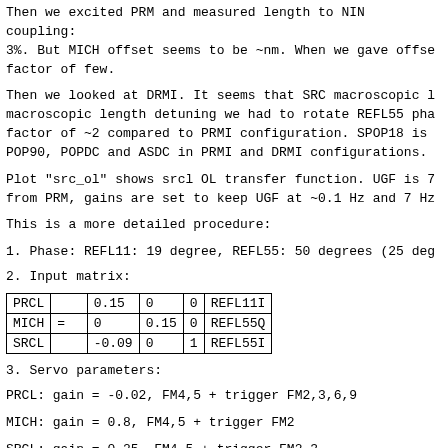Then we excited PRM and measured length to NIN coupling: 3%. But MICH offset seems to be ~nm. When we gave offse factor of few.
Then we looked at DRMI. It seems that SRC macroscopic l macroscopic length detuning we had to rotate REFL55 pha factor of ~2 compared to PRMI configuration. SPOP18 is POP90, POPDC and ASDC in PRMI and DRMI configurations.
Plot "src_ol" shows srcl OL transfer function. UGF is 7 from PRM, gains are set to keep UGF at ~0.1 Hz and 7 Hz
This is a more detailed procedure:
1. Phase: REFL11: 19 degree, REFL55: 50 degrees (25 deg
2. Input matrix:
|  |  |  |  |  |  |
| --- | --- | --- | --- | --- | --- |
| PRCL |  | 0.15 | 0 | 0 | REFL11I |
| MICH | = | 0 | 0.15 | 0 | REFL55Q |
| SRCL |  | -0.09 | 0 | 1 | REFL55I |
3. Servo parameters:
PRCL: gain = -0.02, FM4,5 + trigger FM2,3,6,9
MICH: gain = 0.8, FM4,5 + trigger FM2
SRCL: gain = 0.25, FM4,5 + trigger FM2,3
4. Triggering: